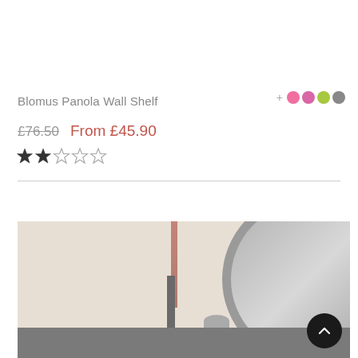Blomus Panola Wall Shelf
£76.50  From £45.90
[Figure (other): Star rating showing approximately 2 out of 5 stars]
[Figure (photo): Product lifestyle photo showing a wall shelf with a round mirror on the right, a tall pink/rose vertical element, and small decorative items on a dark shelf at the bottom.]